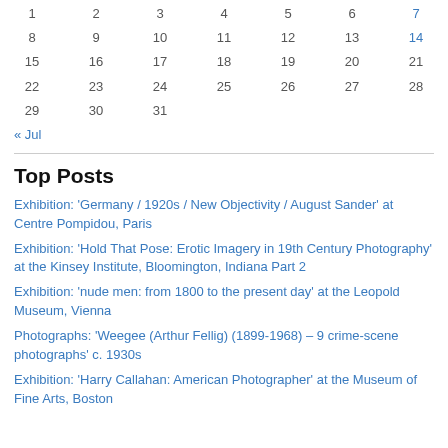| Sun | Mon | Tue | Wed | Thu | Fri | Sat |
| --- | --- | --- | --- | --- | --- | --- |
| 1 | 2 | 3 | 4 | 5 | 6 | 7 |
| 8 | 9 | 10 | 11 | 12 | 13 | 14 |
| 15 | 16 | 17 | 18 | 19 | 20 | 21 |
| 22 | 23 | 24 | 25 | 26 | 27 | 28 |
| 29 | 30 | 31 |  |  |  |  |
« Jul
Top Posts
Exhibition: 'Germany / 1920s / New Objectivity / August Sander' at Centre Pompidou, Paris
Exhibition: 'Hold That Pose: Erotic Imagery in 19th Century Photography' at the Kinsey Institute, Bloomington, Indiana Part 2
Exhibition: 'nude men: from 1800 to the present day' at the Leopold Museum, Vienna
Photographs: 'Weegee (Arthur Fellig) (1899-1968) – 9 crime-scene photographs' c. 1930s
Exhibition: 'Harry Callahan: American Photographer' at the Museum of Fine Arts, Boston